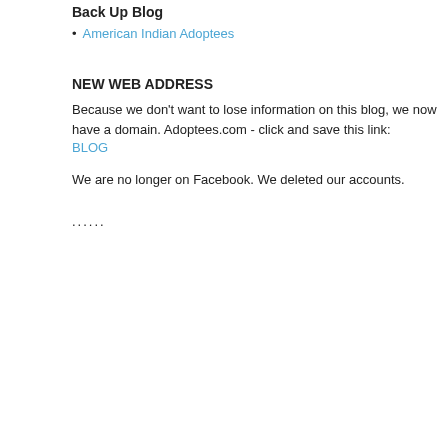Back Up Blog
American Indian Adoptees
NEW WEB ADDRESS
Because we don't want to lose information on this blog, we now have a domain. Adoptees.com - click and save this link:
BLOG
We are no longer on Facebook. We deleted our accounts.
......